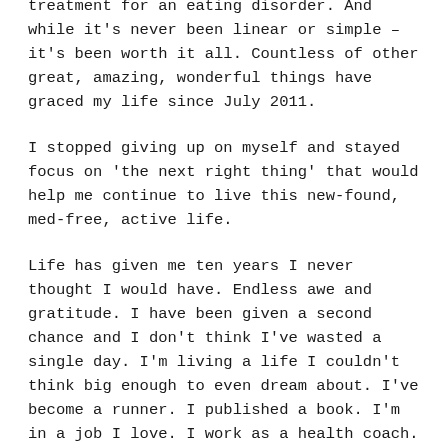treatment for an eating disorder. And while it's never been linear or simple – it's been worth it all. Countless of other great, amazing, wonderful things have graced my life since July 2011.
I stopped giving up on myself and stayed focus on 'the next right thing' that would help me continue to live this new-found, med-free, active life.
Life has given me ten years I never thought I would have. Endless awe and gratitude. I have been given a second chance and I don't think I've wasted a single day. I'm living a life I couldn't think big enough to even dream about. I've become a runner. I published a book. I'm in a job I love. I work as a health coach. I have amazing friends in the trail/ultra community. I have a 100 mile finisher buckle. Like... NONE of that